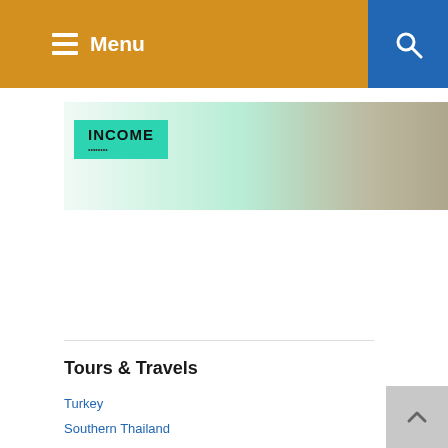Menu
[Figure (photo): Advertisement banner with 'INCOME' text on teal background, furniture and a location pin badge visible]
Tours & Travels
Turkey
Southern Thailand
Northern & Central Thailand
Sri Lanka
South Africa
Philippines
New Zealand
Cancun & Southern Mexico
Greater Los Angeles
Egypt
Belize